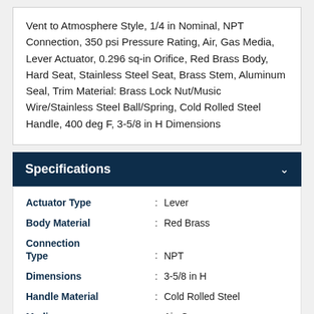Vent to Atmosphere Style, 1/4 in Nominal, NPT Connection, 350 psi Pressure Rating, Air, Gas Media, Lever Actuator, 0.296 sq-in Orifice, Red Brass Body, Hard Seat, Stainless Steel Seat, Brass Stem, Aluminum Seal, Trim Material: Brass Lock Nut/Music Wire/Stainless Steel Ball/Spring, Cold Rolled Steel Handle, 400 deg F, 3-5/8 in H Dimensions
Specifications
| Attribute | : | Value |
| --- | --- | --- |
| Actuator Type | : | Lever |
| Body Material | : | Red Brass |
| Connection Type | : | NPT |
| Dimensions | : | 3-5/8 in H |
| Handle Material | : | Cold Rolled Steel |
| Media | : | Air, Gas |
| Model | : | 110C |